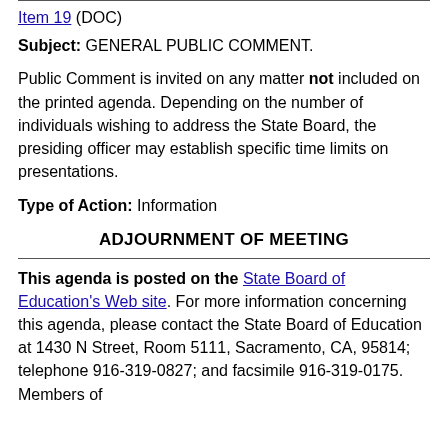Item 19 (DOC)
Subject: GENERAL PUBLIC COMMENT.
Public Comment is invited on any matter not included on the printed agenda. Depending on the number of individuals wishing to address the State Board, the presiding officer may establish specific time limits on presentations.
Type of Action: Information
ADJOURNMENT OF MEETING
This agenda is posted on the State Board of Education's Web site. For more information concerning this agenda, please contact the State Board of Education at 1430 N Street, Room 5111, Sacramento, CA, 95814; telephone 916-319-0827; and facsimile 916-319-0175. Members of